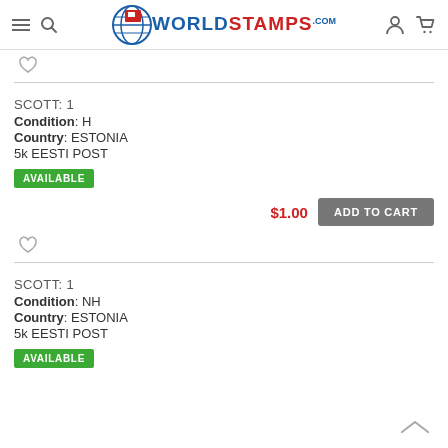WorldStamps.com
SCOTT: 1
Condition: H
Country: ESTONIA
5k EESTI POST
AVAILABLE
$1.00 ADD TO CART
SCOTT: 1
Condition: NH
Country: ESTONIA
5k EESTI POST
AVAILABLE